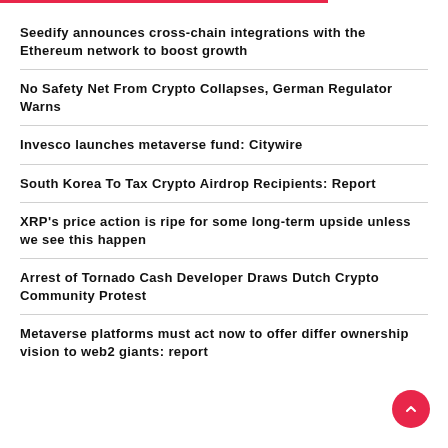Seedify announces cross-chain integrations with the Ethereum network to boost growth
No Safety Net From Crypto Collapses, German Regulator Warns
Invesco launches metaverse fund: Citywire
South Korea To Tax Crypto Airdrop Recipients: Report
XRP's price action is ripe for some long-term upside unless we see this happen
Arrest of Tornado Cash Developer Draws Dutch Crypto Community Protest
Metaverse platforms must act now to offer different ownership vision to web2 giants: report